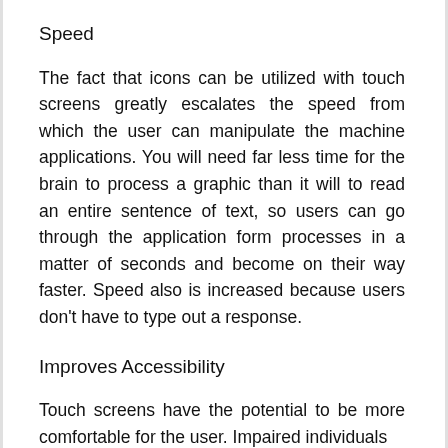Speed
The fact that icons can be utilized with touch screens greatly escalates the speed from which the user can manipulate the machine applications. You will need far less time for the brain to process a graphic than it will to read an entire sentence of text, so users can go through the application form processes in a matter of seconds and become on their way faster. Speed also is increased because users don't have to type out a response.
Improves Accessibility
Touch screens have the potential to be more comfortable for the user. Impaired individuals